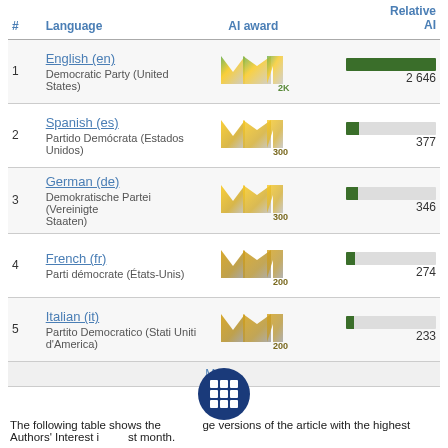| # | Language | AI award | Relative AI |
| --- | --- | --- | --- |
| 1 | English (en)
Democratic Party (United States) | 2K badge | 2 646 |
| 2 | Spanish (es)
Partido Demócrata (Estados Unidos) | 300 badge | 377 |
| 3 | German (de)
Demokratische Partei (Vereinigte Staaten) | 300 badge | 346 |
| 4 | French (fr)
Parti démocrate (États-Unis) | 200 badge | 274 |
| 5 | Italian (it)
Partito Democratico (Stati Uniti d'America) | 200 badge | 233 |
|  | More... |  |  |
The following table shows the language versions of the article with the highest Authors' Interest last month.